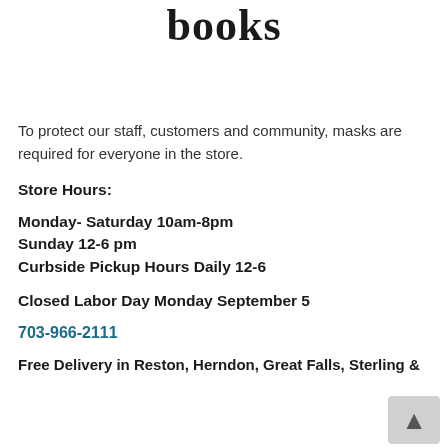books
To protect our staff, customers and community, masks are required for everyone in the store.
Store Hours:
Monday- Saturday 10am-8pm
Sunday 12-6 pm
Curbside Pickup Hours Daily 12-6
Closed Labor Day Monday September 5
703-966-2111
Free Delivery in Reston, Herndon, Great Falls, Sterling &